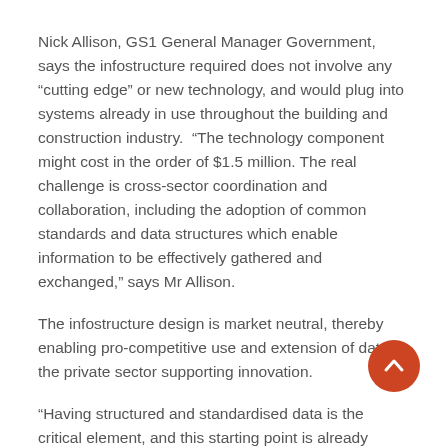Nick Allison, GS1 General Manager Government, says the infostructure required does not involve any “cutting edge” or new technology, and would plug into systems already in use throughout the building and construction industry.  “The technology component might cost in the order of $1.5 million. The real challenge is cross-sector coordination and collaboration, including the adoption of common standards and data structures which enable information to be effectively gathered and exchanged,” says Mr Allison.
The infostructure design is market neutral, thereby enabling pro-competitive use and extension of da by the private sector supporting innovation.
“Having structured and standardised data is the critical element, and this starting point is already